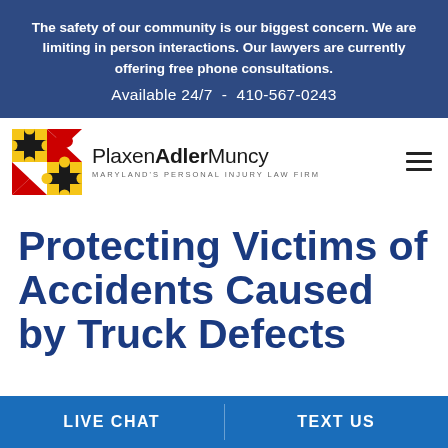The safety of our community is our biggest concern. We are limiting in person interactions. Our lawyers are currently offering free phone consultations. Available 24/7 - 410-567-0243
[Figure (logo): Plaxen Adler Muncy — Maryland's Personal Injury Law Firm logo with Maryland state flag icon]
Protecting Victims of Accidents Caused by Truck Defects
LIVE CHAT   TEXT US